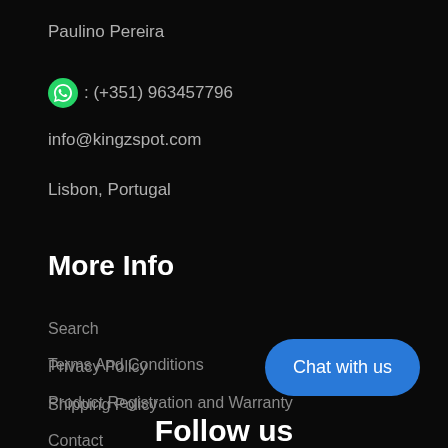Paulino Pereira
: (+351) 963457796
info@kingzspot.com
Lisbon, Portugal
More Info
Search
Privacy Policy
Shipping Policy
Terms And Conditions
Product Registration and Warranty
Contact
Chat with us
Follow us